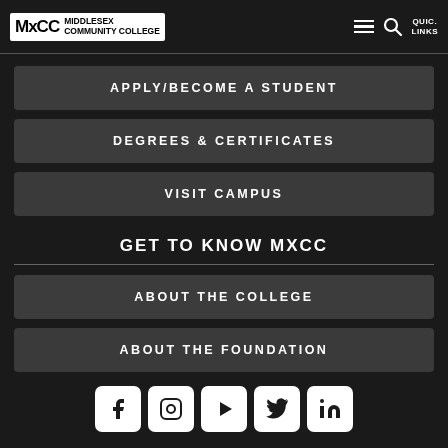MIDDLESEX COMMUNITY COLLEGE
APPLY/BECOME A STUDENT
DEGREES & CERTIFICATES
VISIT CAMPUS
GET TO KNOW MXCC
ABOUT THE COLLEGE
ABOUT THE FOUNDATION
[Figure (other): Social media icons row: Facebook, Instagram, YouTube, Twitter, LinkedIn]